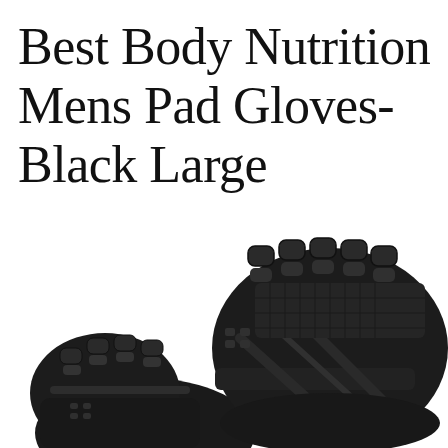Best Body Nutrition Mens Pad Gloves- Black Large
[Figure (photo): Two black fingerless weightlifting/gym gloves (Best Body Nutrition Mens Pad Gloves) photographed against a white background. The gloves are shown from a top-down angle, displaying padded knuckle areas, textured grip panels, and finger-loop design. One glove is partially visible on the left, the other more prominently displayed on the right.]